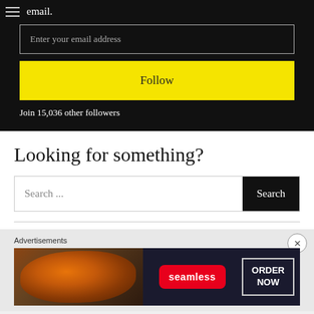email.
Enter your email address
Follow
Join 15,036 other followers
Looking for something?
Search ...
Search
Advertisements
[Figure (photo): Seamless food delivery advertisement showing pizza with seamless logo and ORDER NOW button]